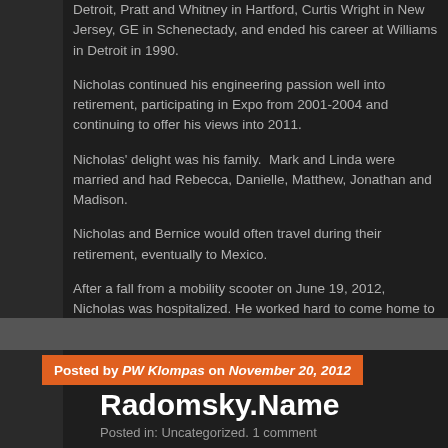Detroit, Pratt and Whitney in Hartford, Curtis Wright in New Jersey, GE in Schenectady, and ended his career at Williams in Detroit in 1990.
Nicholas continued his engineering passion well into retirement, participating in Expo from 2001-2004 and continuing to offer his views into 2011.
Nicholas' delight was his family.  Mark and Linda were married and had Rebecca, Danielle, Matthew, Jonathan and Madison.
Nicholas and Bernice would often travel during their retirement, eventually to Mexico.
After a fall from a mobility scooter on June 19, 2012, Nicholas was hospitalized. He worked hard to come home to his beloved wife, but an infection proved insurmountable.  He died with his family around him on November
Posted by PW Klompas on November 20, 2012
Radomsky.Name
Posted in: Uncategorized. 1 comment